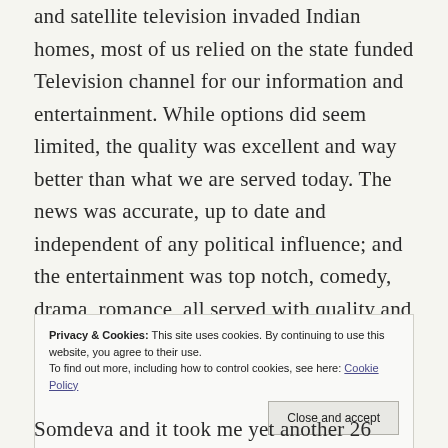and satellite television invaded Indian homes, most of us relied on the state funded Television channel for our information and entertainment. While options did seem limited, the quality was excellent and way better than what we are served today. The news was accurate, up to date and independent of any political influence; and the entertainment was top notch, comedy, drama, romance, all served with quality and sensitivity! One of the series that made an incredible impression, was this series of unrelated stories from what I now understand
Privacy & Cookies: This site uses cookies. By continuing to use this website, you agree to their use. To find out more, including how to control cookies, see here: Cookie Policy
Somdeva and it took me yet another 26 years before I